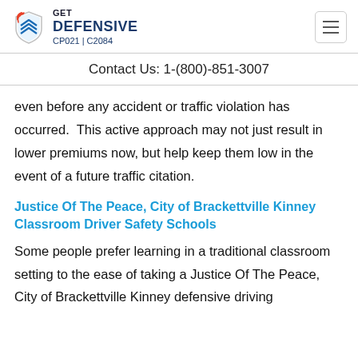GET DEFENSIVE CP021 | C2084
Contact Us: 1-(800)-851-3007
even before any accident or traffic violation has occurred.  This active approach may not just result in lower premiums now, but help keep them low in the event of a future traffic citation.
Justice Of The Peace, City of Brackettville Kinney Classroom Driver Safety Schools
Some people prefer learning in a traditional classroom setting to the ease of taking a Justice Of The Peace, City of Brackettville Kinney defensive driving